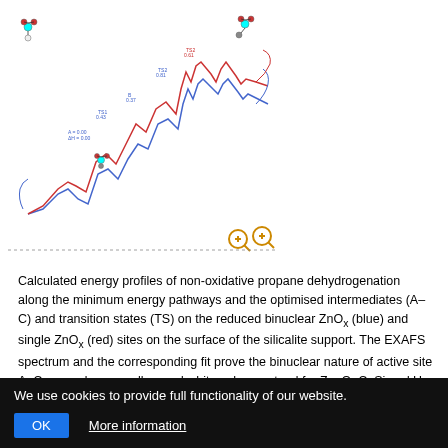[Figure (schematic): Calculated energy profiles diagram showing non-oxidative propane dehydrogenation along minimum energy pathways with intermediates and transition states on reduced binuclear ZnOx (blue) and single ZnOx (red) sites on silicalite support surface, with EXAFS spectrum and corresponding fit. Molecular structures with colored spheres (cyan=Zn, red=O, grey=C, yellow=Si, white=H) are shown at various points along the energy profiles.]
Calculated energy profiles of non-oxidative propane dehydrogenation along the minimum energy pathways and the optimised intermediates (A–C) and transition states (TS) on the reduced binuclear ZnOx (blue) and single ZnOx (red) sites on the surface of the silicalite support. The EXAFS spectrum and the corresponding fit prove the binuclear nature of active site A. Cyan, red, grey, yellow and white spheres stand for Zn, O, C, Si and H atoms, respectively (Credit: From original publication...